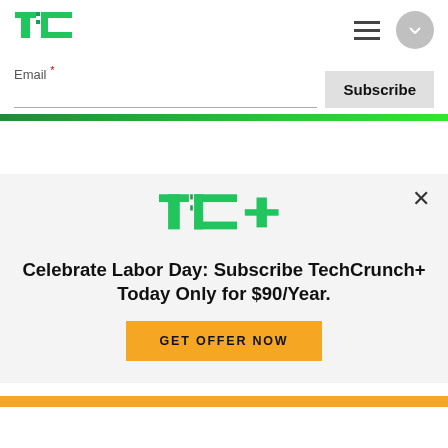[Figure (logo): TechCrunch TC logo in green]
Email *
Subscribe
[Figure (infographic): TechCrunch+ modal overlay with TC+ logo, headline 'Celebrate Labor Day: Subscribe TechCrunch+ Today Only for $90/Year.' and GET OFFER NOW button]
after missing revenue and growth targets
Christine Hall, Haje Jan Kamps
10:05 PM UTC • August 31, 2022